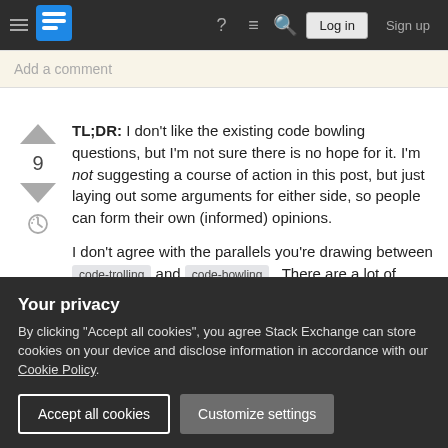Stack Exchange navigation bar with logo, help, chat, search, Log in, Sign up
Add a comment
TL;DR: I don't like the existing code bowling questions, but I'm not sure there is no hope for it. I'm not suggesting a course of action in this post, but just laying out some arguments for either side, so people can form their own (informed) opinions.
I don't agree with the parallels you're drawing between code-trolling and code-bowling . There are a lot of differences between the two. In particular
Your privacy
By clicking "Accept all cookies", you agree Stack Exchange can store cookies on your device and disclose information in accordance with our Cookie Policy.
here that is based on comparison with code-trolling.